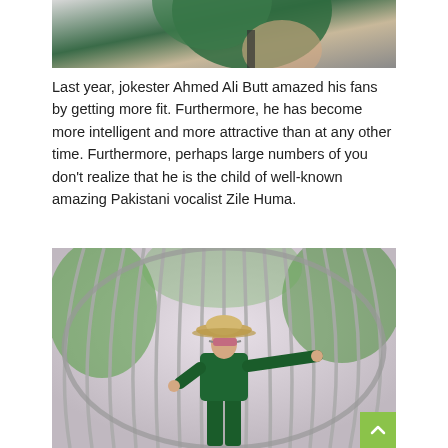[Figure (photo): Partial view of a person in green outfit, cropped at top of page]
Last year, jokester Ahmed Ali Butt amazed his fans by getting more fit. Furthermore, he has become more intelligent and more attractive than at any other time. Furthermore, perhaps large numbers of you don't realize that he is the child of well-known amazing Pakistani vocalist Zile Huma.
[Figure (photo): A woman in a green outfit and straw hat with sunglasses, standing inside a large circular metallic arch structure with trees in the background. A green scroll-to-top button is visible in the bottom right corner.]